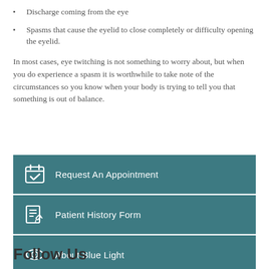Discharge coming from the eye
Spasms that cause the eyelid to close completely or difficulty opening the eyelid.
In most cases, eye twitching is not something to worry about, but when you do experience a spasm it is worthwhile to take note of the circumstances so you know when your body is trying to tell you that something is out of balance.
[Figure (infographic): Three teal buttons: Request An Appointment (calendar-check icon), Patient History Form (edit-document icon), About Blue Light (eye icon)]
Follow Us